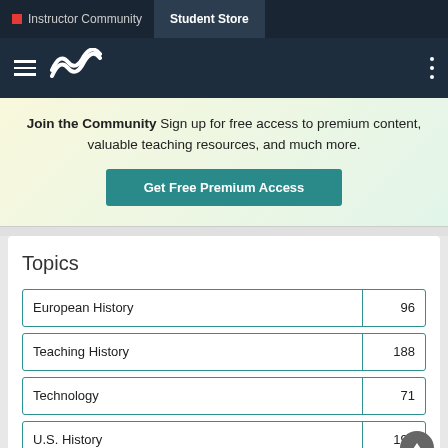Instructor Community | Student Store
Join the Community  Sign up for free access to premium content, valuable teaching resources, and much more.
Get Free Premium Access
Topics
| Topic | Count |
| --- | --- |
| European History | 96 |
| Teaching History | 188 |
| Technology | 71 |
| U.S. History | 193 |